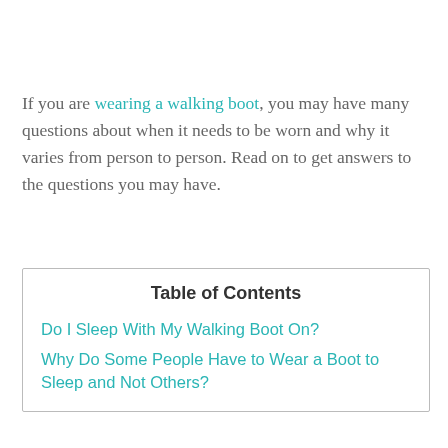If you are wearing a walking boot, you may have many questions about when it needs to be worn and why it varies from person to person. Read on to get answers to the questions you may have.
| Table of Contents |
| --- |
| Do I Sleep With My Walking Boot On? |
| Why Do Some People Have to Wear a Boot to Sleep and Not Others? |